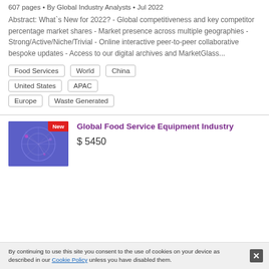607 pages • By Global Industry Analysts • Jul 2022
Abstract: What`s New for 2022? - Global competitiveness and key competitor percentage market shares - Market presence across multiple geographies - Strong/Active/Niche/Trivial - Online interactive peer-to-peer collaborative bespoke updates - Access to our digital archives and MarketGlass...
Food Services
World
China
United States
APAC
Europe
Waste Generated
[Figure (illustration): Blue/purple background with abstract network/globe illustration and a red 'New' badge in the top-right corner]
Global Food Service Equipment Industry
$ 5450
By continuing to use this site you consent to the use of cookies on your device as described in our Cookie Policy unless you have disabled them.